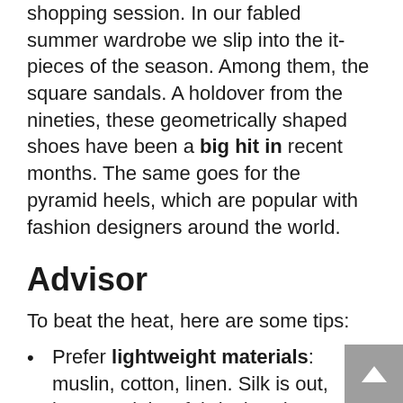shopping session. In our fabled summer wardrobe we slip into the it-pieces of the season. Among them, the square sandals. A holdover from the nineties, these geometrically shaped shoes have been a big hit in recent months. The same goes for the pyramid heels, which are popular with fashion designers around the world.
Advisor
To beat the heat, here are some tips:
Prefer lightweight materials: muslin, cotton, linen. Silk is out, because it is a fabric that does not allow the skin to breathe much and absorbs the traces of sweat.